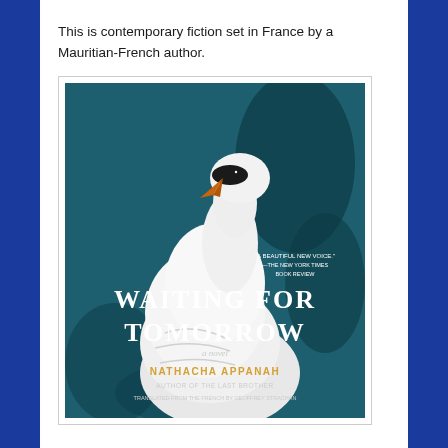This is contemporary fiction set in France by a Mauritian-French author.
[Figure (illustration): Book cover of 'Waiting for Tomorrow' by Nathacha Appanah. A teal/dark blue background with a white swan seen from above. Title 'WAITING FOR TOMORROW' in large white serif letters, subtitle 'a novel', author name 'NATHACHA APPANAH' in gold, 'AUTHOR OF THE LAST BROTHER', 'TRANSLATED FROM THE FRENCH BY GEOFFREY STRACHAN'. A quote reads 'A BEAUTIFUL NEW VOICE' - THE NEW YORK TIMES BOOK REVIEW.]
Anita and Adam meet as students in Paris. She's an immigrant from Mauritius and he's from the French provinces. They both feel out of place but find comfort and love with each other. They move to the provinces, get